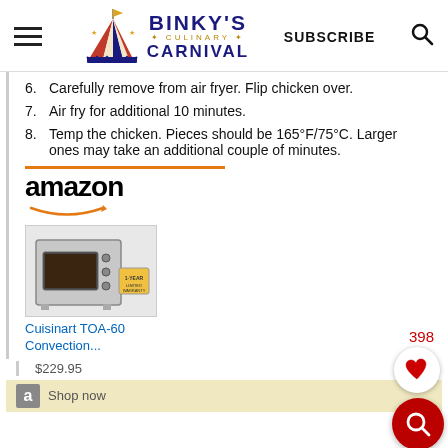Binky's Culinary Carnival — SUBSCRIBE
6. Carefully remove from air fryer. Flip chicken over.
7. Air fry for additional 10 minutes.
8. Temp the chicken. Pieces should be 165°F/75°C. Larger ones may take an additional couple of minutes.
[Figure (screenshot): Amazon product advertisement showing Cuisinart TOA-60 Convection air fryer toaster oven priced at $229.95 with Amazon logo, orange top bar, and product image]
Cuisinart TOA-60 Convection...
$229.95
[Figure (screenshot): Bottom Amazon Shop Now strip with Amazon 'a' logo button]